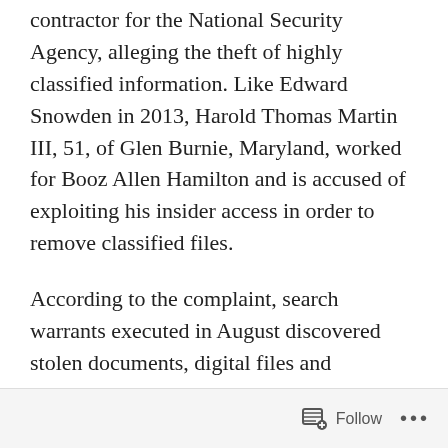contractor for the National Security Agency, alleging the theft of highly classified information. Like Edward Snowden in 2013, Harold Thomas Martin III, 51, of Glen Burnie, Maryland, worked for Booz Allen Hamilton and is accused of exploiting his insider access in order to remove classified files.
According to the complaint, search warrants executed in August discovered stolen documents, digital files and government property in Martin's residence and vehicle. Six of the classified documents contained sensitive intelligence dating back to 2014.
Follow ···